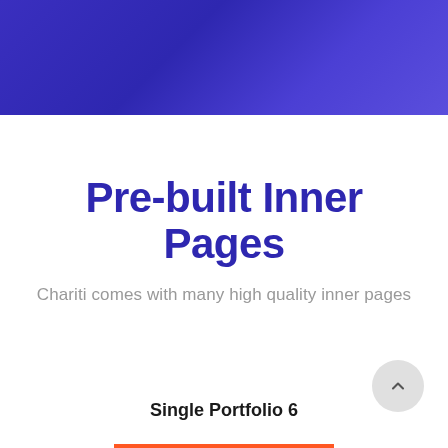[Figure (illustration): Dark blue/indigo gradient hero banner at the top of the page]
Pre-built Inner Pages
Chariti comes with many high quality inner pages
Single Portfolio 6